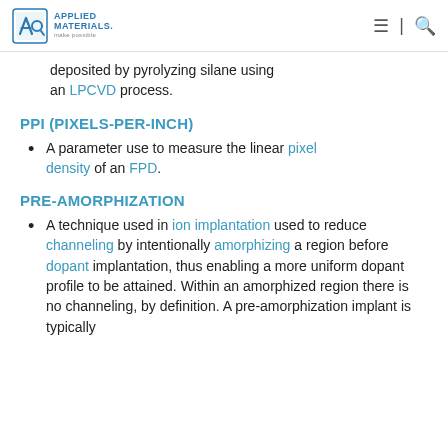Applied Materials — make possible
deposited by pyrolyzing silane using an LPCVD process.
PPI (PIXELS-PER-INCH)
A parameter use to measure the linear pixel density of an FPD.
PRE-AMORPHIZATION
A technique used in ion implantation used to reduce channeling by intentionally amorphizing a region before dopant implantation, thus enabling a more uniform dopant profile to be attained. Within an amorphized region there is no channeling, by definition. A pre-amorphization implant is typically